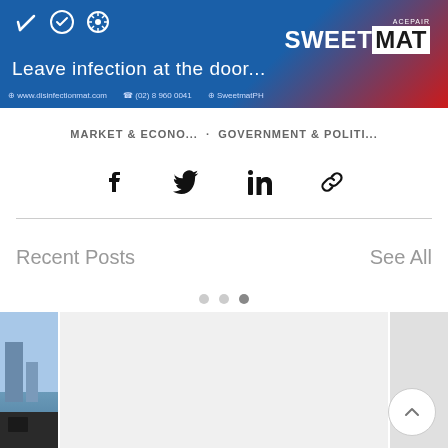[Figure (photo): SweetMat advertisement banner with blue and red background, showing icons (checkmark, shield, virus), text 'Leave infection at the door...' and the SWEETMAT brand logo with contact details]
MARKET & ECONO... · GOVERNMENT & POLITI...
[Figure (infographic): Social sharing icons row: Facebook, Twitter, LinkedIn, Link/chain icon]
Recent Posts
See All
[Figure (photo): Recent posts thumbnails: partial left card showing a blue sky/building photo, center card in light gray, right card partially visible]